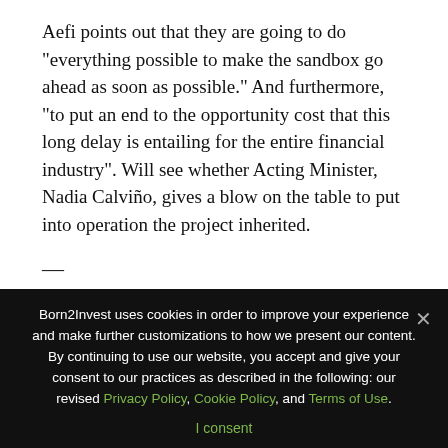Aefi points out that they are going to do “everything possible to make the sandbox go ahead as soon as possible.” And furthermore, “to put an end to the opportunity cost that this long delay is entailing for the entire financial industry”. Will see whether Acting Minister, Nadia Calviño, gives a blow on the table to put into operation the project inherited.
—
(Featured image by Pexels via Pixabay)
First published in invertia, a third-party contributor
Born2Invest uses cookies in order to improve your experience and make further customizations to how we present our content. By continuing to use our website, you accept and give your consent to our practices as described in the following: our revised Privacy Policy, Cookie Policy, and Terms of Use.
I consent